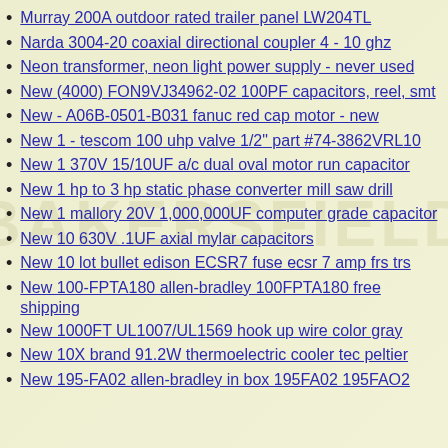Murray 200A outdoor rated trailer panel LW204TL
Narda 3004-20 coaxial directional coupler 4 - 10 ghz
Neon transformer, neon light power supply - never used
New (4000) FON9VJ34962-02 100PF capacitors, reel, smt
New - A06B-0501-B031 fanuc red cap motor - new
New 1 - tescom 100 uhp valve 1/2" part #74-3862VRL10
New 1 370V 15/10UF a/c dual oval motor run capacitor
New 1 hp to 3 hp static phase converter mill saw drill
New 1 mallory 20V 1,000,000UF computer grade capacitor
New 10 630V .1UF axial mylar capacitors
New 10 lot bullet edison ECSR7 fuse ecsr 7 amp frs trs
New 100-FPTA180 allen-bradley 100FPTA180 free shipping
New 1000FT UL1007/UL1569 hook up wire color gray
New 10X brand 91.2W thermoelectric cooler tec peltier
New 195-FA02 allen-bradley in box 195FA02 195FAO2